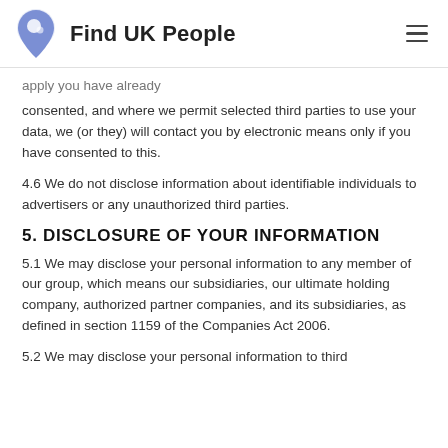Find UK People
…apply you have already consented, and where we permit selected third parties to use your data, we (or they) will contact you by electronic means only if you have consented to this.
4.6 We do not disclose information about identifiable individuals to advertisers or any unauthorized third parties.
5. DISCLOSURE OF YOUR INFORMATION
5.1 We may disclose your personal information to any member of our group, which means our subsidiaries, our ultimate holding company, authorized partner companies, and its subsidiaries, as defined in section 1159 of the Companies Act 2006.
5.2 We may disclose your personal information to third parties as detailed below…